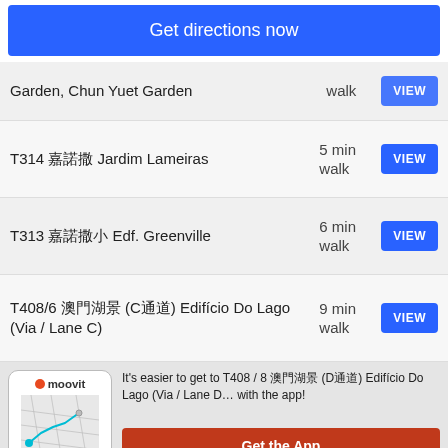Get directions now
Garden, Chun Yuet Garden | walk | VIEW
T314 嘉諾撒 Jardim Lameiras | 5 min walk | VIEW
T313 嘉諾撒小 Edf. Greenville | 6 min walk | VIEW
T408/6 澳門湖景 (C通道) Edifício Do Lago (Via / Lane C) | 9 min walk | VIEW
It's easier to get to T408 / 8 澳門湖景 (D通道) Edifício Do Lago (Via / Lane D… with the app!
Get the App